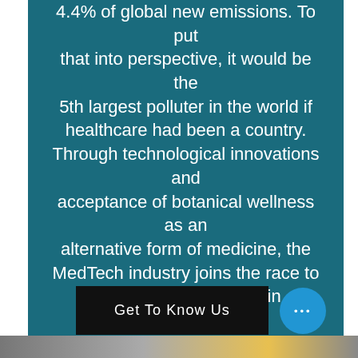4.4% of global new emissions. To put that into perspective, it would be the 5th largest polluter in the world if healthcare had been a country. Through technological innovations and acceptance of botanical wellness as an alternative form of medicine, the MedTech industry joins the race to acheiving carbon zero in healthcare systems globally.
Get To Know Us
[Figure (photo): Bottom strip showing a partial industrial or construction scene in muted colors]